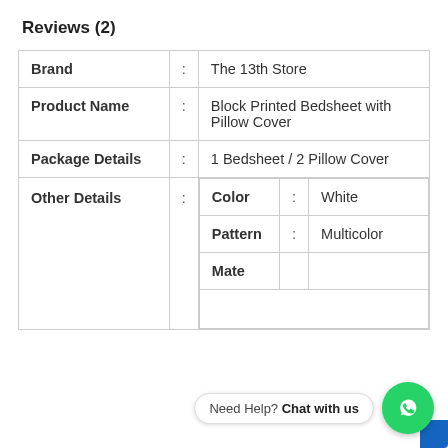Reviews (2)
| Attribute | : | Value |
| --- | --- | --- |
| Brand | : | The 13th Store |
| Product Name | : | Block Printed Bedsheet with Pillow Cover |
| Package Details | : | 1 Bedsheet / 2 Pillow Cover |
| Other Details | : | Color : White | Pattern : Multicolor | Material : (partially visible) |